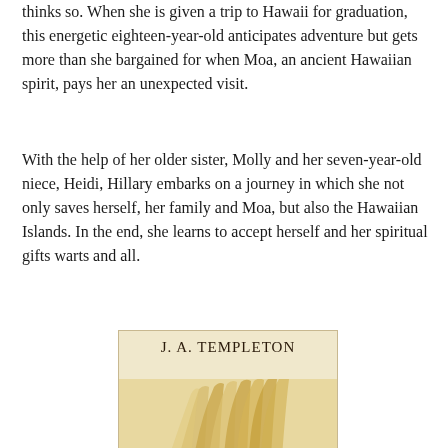thinks so. When she is given a trip to Hawaii for graduation, this energetic eighteen-year-old anticipates adventure but gets more than she bargained for when Moa, an ancient Hawaiian spirit, pays her an unexpected visit.
With the help of her older sister, Molly and her seven-year-old niece, Heidi, Hillary embarks on a journey in which she not only saves herself, her family and Moa, but also the Hawaiian Islands. In the end, she learns to accept herself and her spiritual gifts warts and all.
[Figure (illustration): Book cover showing author name 'J. A. Templeton' in uppercase serif font on a warm beige/cream background, with an illustration of blonde hair partially visible at the bottom.]